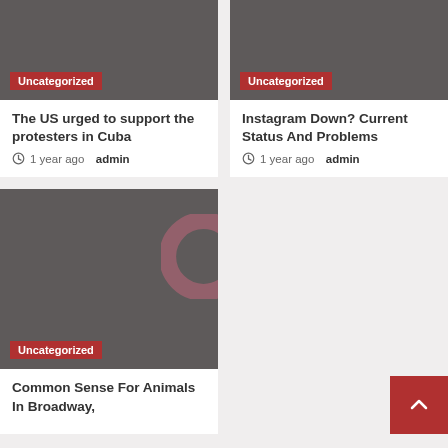[Figure (photo): Dark gray image placeholder for Cuba protesters article]
Uncategorized
The US urged to support the protesters in Cuba
1 year ago  admin
[Figure (photo): Dark gray image placeholder for Instagram Down article]
Uncategorized
Instagram Down? Current Status And Problems
1 year ago  admin
[Figure (photo): Dark gray image placeholder for Common Sense For Animals article with partial donut watermark]
Uncategorized
Common Sense For Animals In Broadway,